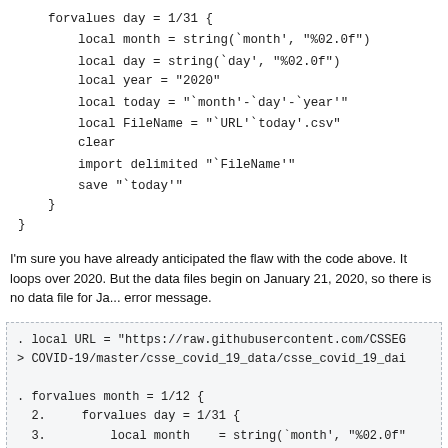I'm sure you have already anticipated the flaw with the code above. It loops over 2020. But the data files begin on January 21, 2020, so there is no data file for Ja... error message.